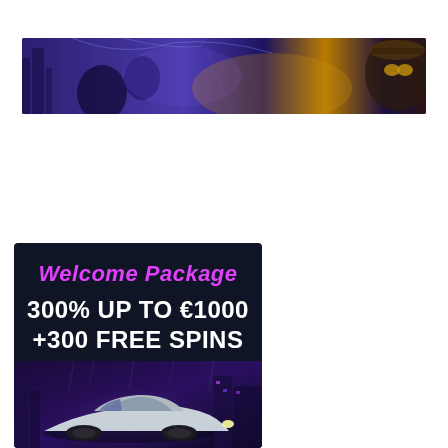[Figure (illustration): Wide banner image showing a purple-toned gaming/casino scene with characters in steampunk style and golden light accents against a dark city background. Partially visible text appears to read 'Welcome Bonus' or similar.]
[Figure (illustration): Casino welcome package promotional banner with dark navy background. Pink italic text reads 'Welcome Package', large white bold text reads '300% UP TO €1000 +300 FREE SPINS', with a sports car scene in purple city lighting below.]